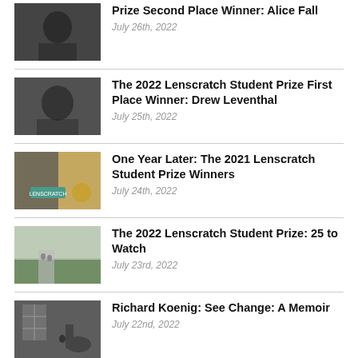Prize Second Place Winner: Alice Fall
July 26th, 2022
The 2022 Lenscratch Student Prize First Place Winner: Drew Leventhal
July 25th, 2022
One Year Later: The 2021 Lenscratch Student Prize Winners
July 24th, 2022
The 2022 Lenscratch Student Prize: 25 to Watch
July 23rd, 2022
Richard Koenig: See Change: A Memoir
July 22nd, 2022
Candace Biggerstaff: The Back